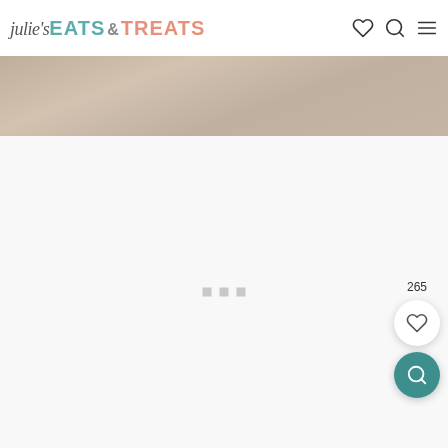julie's EATS & TREATS
[Figure (photo): Partial photo visible at top of page, appears to be a wooden surface or food photography background in warm/neutral tones]
[Figure (screenshot): White content area with three small loading indicator dots in the center, and floating action buttons on the right: a heart/save button with count 265 and a teal search/magnify button]